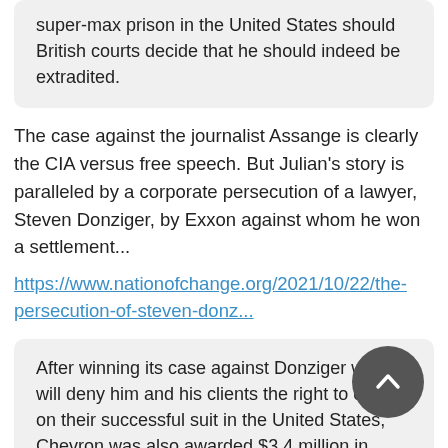super-max prison in the United States should British courts decide that he should indeed be extradited.
The case against the journalist Assange is clearly the CIA versus free speech. But Julian's story is paralleled by a corporate persecution of a lawyer, Steven Donziger, by Exxon against whom he won a settlement...
https://www.nationofchange.org/2021/10/22/the-persecution-of-steven-donz...
After winning its case against Donziger which will deny him and his clients the right to collect on their successful suit in the United States, Chevron was also awarded $3.4 million in